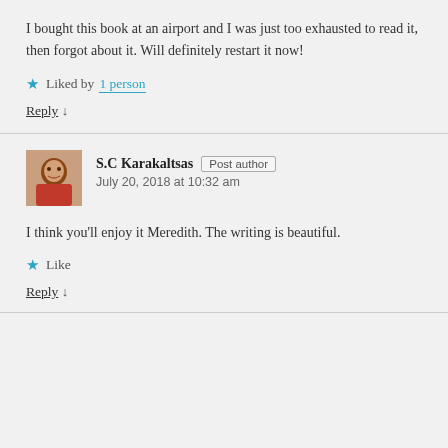I bought this book at an airport and I was just too exhausted to read it, then forgot about it. Will definitely restart it now!
★ Liked by 1 person
Reply ↓
S.C Karakaltsas  Post author
July 20, 2018 at 10:32 am
I think you'll enjoy it Meredith. The writing is beautiful.
★ Like
Reply ↓